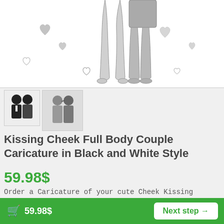[Figure (illustration): Black and white pencil sketch illustration of a couple's legs standing together surrounded by hand-drawn hearts on white background]
[Figure (illustration): Two small thumbnail images: left shows cartoon caricature of couple kissing cheek (black and white), right shows pencil sketch of couple kissing]
Kissing Cheek Full Body Couple Caricature in Black and White Style
59.98$
Order a Caricature of your cute Cheek Kissing Couple for a romantic and unique gift for your soulmate for
59.98$  Next step →